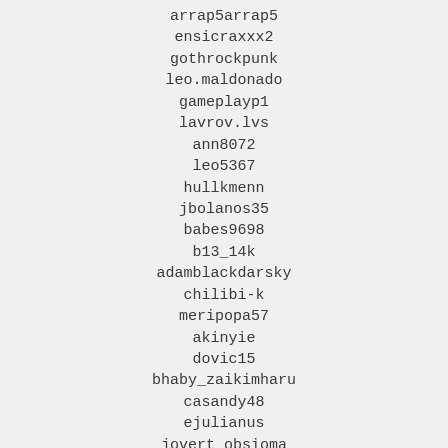arrap5arrap5
ensicraxxx2
gothrockpunk
leo.maldonado
gameplayp1
lavrov.lvs
ann8072
leo5367
hullkmenn
jbolanos35
babes9698
b13_14k
adamblackdarsky
chilibi-k
meripopa57
akinyie
dovic15
bhaby_zaikimharu
casandy48
ejulianus
jovert_obsioma
hollsy
loser_grr
chubz_james22